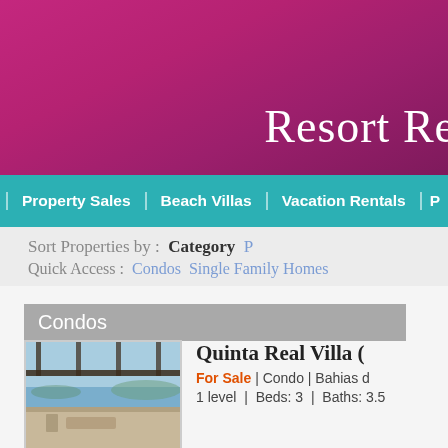Resort Re
Property Sales | Beach Villas | Vacation Rentals | P
Sort Properties by : Category  P
Quick Access : Condos Single Family Homes
Condos
[Figure (photo): Photo of a villa with a covered terrace/pergola overlooking the ocean/bay, bright blue sky]
Quinta Real Villa (
For Sale | Condo | Bahias d
1 level | Beds: 3 | Baths: 3.5